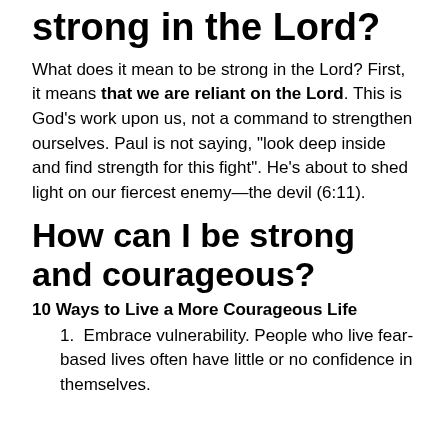strong in the Lord?
What does it mean to be strong in the Lord? First, it means that we are reliant on the Lord. This is God’s work upon us, not a command to strengthen ourselves. Paul is not saying, “look deep inside and find strength for this fight”. He’s about to shed light on our fiercest enemy—the devil (6:11).
How can I be strong and courageous?
10 Ways to Live a More Courageous Life
Embrace vulnerability. People who live fear-based lives often have little or no confidence in themselves.